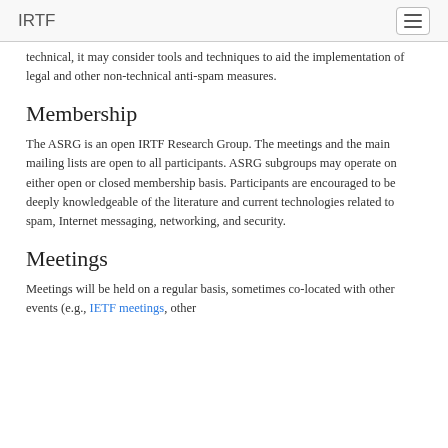IRTF
technical, it may consider tools and techniques to aid the implementation of legal and other non-technical anti-spam measures.
Membership
The ASRG is an open IRTF Research Group. The meetings and the main mailing lists are open to all participants. ASRG subgroups may operate on either open or closed membership basis. Participants are encouraged to be deeply knowledgeable of the literature and current technologies related to spam, Internet messaging, networking, and security.
Meetings
Meetings will be held on a regular basis, sometimes co-located with other events (e.g., IETF meetings, other